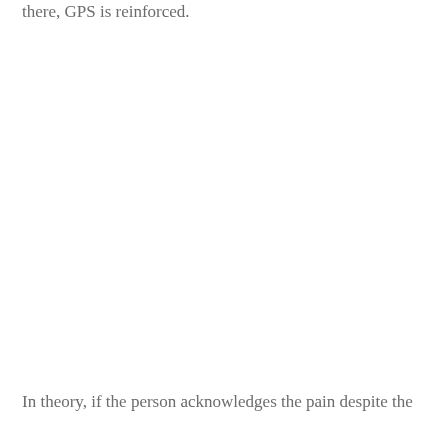there, GPS is reinforced.
In theory, if the person acknowledges the pain despite the